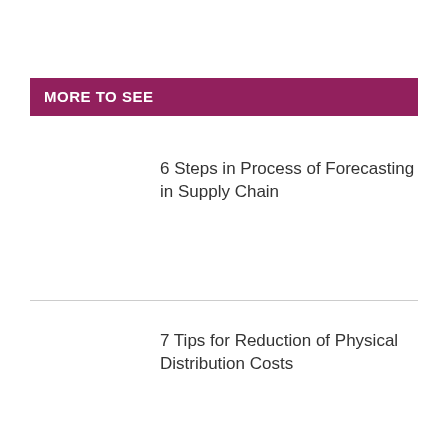MORE TO SEE
6 Steps in Process of Forecasting in Supply Chain
7 Tips for Reduction of Physical Distribution Costs